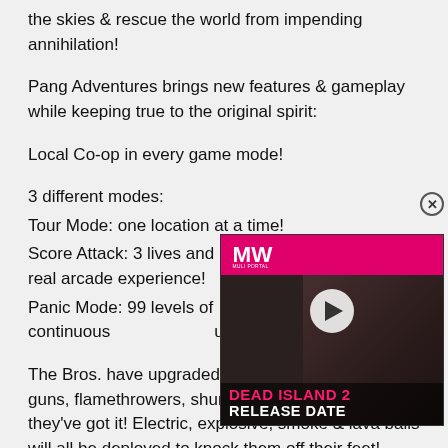the skies & rescue the world from impending annihilation!
Pang Adventures brings new features & gameplay while keeping true to the original spirit:
Local Co-op in every game mode!
3 different modes:
Tour Mode: one location at a time!
Score Attack: 3 lives and NO CONTINUES! The real arcade experience!
Panic Mode: 99 levels of continuous... ultimate test!
The Bros. have upgraded their gear so guns, flamethrowers, shurikens…you name it, they've got it! Electric, explosive, smoke & lava balls will all be deployed to knock them off their feet!
[Figure (screenshot): Video overlay thumbnail with MW logo on pink bar, play button, Dead Island 2 Release Date text, and a person silhouette in background]